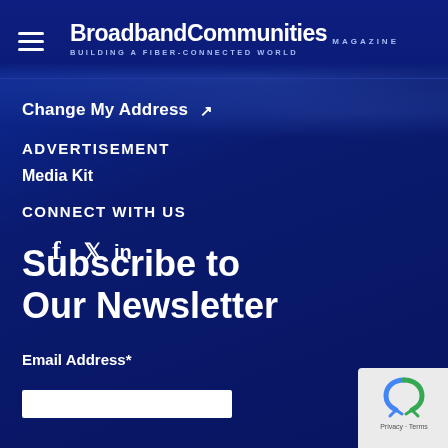BroadbandCommunities MAGAZINE — Building a Fiber-Connected World
Change My Address ↗
ADVERTISEMENT
Media Kit
CONNECT WITH US
[Figure (infographic): Social media icons: Facebook (f), Twitter (bird), LinkedIn (in)]
Subscribe to Our Newsletter
Email Address*
[Figure (other): reCAPTCHA badge with Privacy and Terms links]